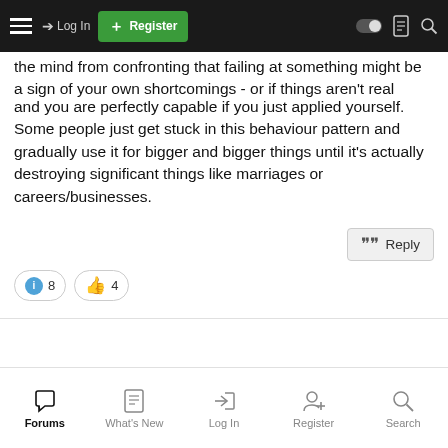Log in | Register
the mind from confronting that failing at something might be a sign of your own shortcomings - or if things aren't real and you are perfectly capable if you just applied yourself. Some people just get stuck in this behaviour pattern and gradually use it for bigger and bigger things until it's actually destroying significant things like marriages or careers/businesses.
Reply
8 (info reactions) | 4 (thumbs up reactions)
Forums | What's New | Log In | Register | Search